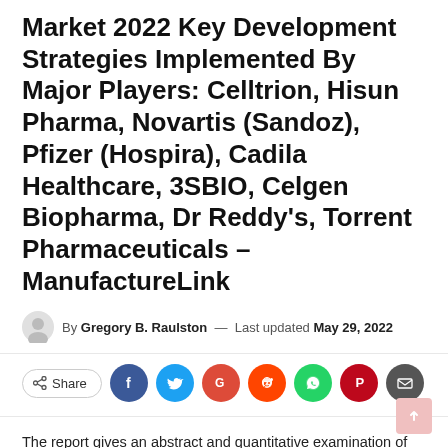Market 2022 Key Development Strategies Implemented By Major Players: Celltrion, Hisun Pharma, Novartis (Sandoz), Pfizer (Hospira), Cadila Healthcare, 3SBIO, Celgen Biopharma, Dr Reddy's, Torrent Pharmaceuticals – ManufactureLink
By Gregory B. Raulston — Last updated May 29, 2022
[Figure (infographic): Social share row with Share button, Facebook, Twitter, Google+, Reddit, WhatsApp, Pinterest, and email icons]
The report gives an abstract and quantitative examination of the Global Biosimilar monoclonal antibodies The review is based on the biosimilar monoclonal antibody division which focuses on the monetary and non-monetary factors that affect the advancement of biosimilar monoclonal antibodies. The